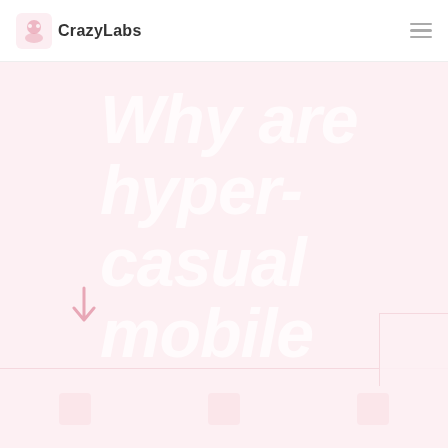CrazyLabs
Why are hyper-casual mobile games so popular?
[Figure (illustration): Arrow icon pointing downward, light pink/red color, partially visible at bottom left of hero section]
[Figure (illustration): Bottom section with card thumbnails partially visible at the bottom of the page]